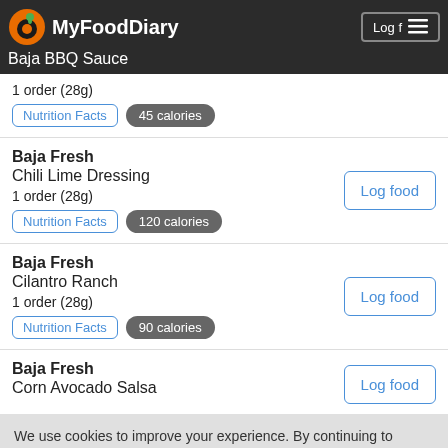MyFoodDiary
Baja BBQ Sauce
1 order (28g)
Nutrition Facts  45 calories
Baja Fresh
Chili Lime Dressing
1 order (28g)
Nutrition Facts  120 calories
Baja Fresh
Cilantro Ranch
1 order (28g)
Nutrition Facts  90 calories
Baja Fresh
Corn Avocado Salsa
We use cookies to improve your experience. By continuing to use our site, you agree to our privacy policy and our use of cookies.